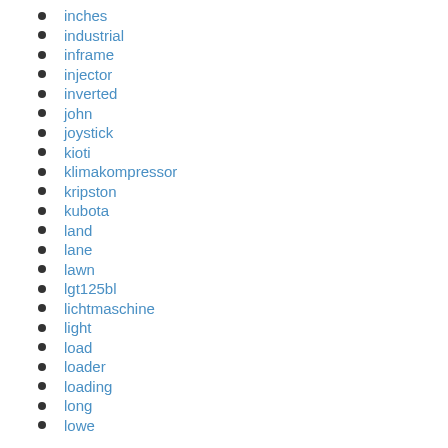inches
industrial
inframe
injector
inverted
john
joystick
kioti
klimakompressor
kripston
kubota
land
lane
lawn
lgt125bl
lichtmaschine
light
load
loader
loading
long
lowe